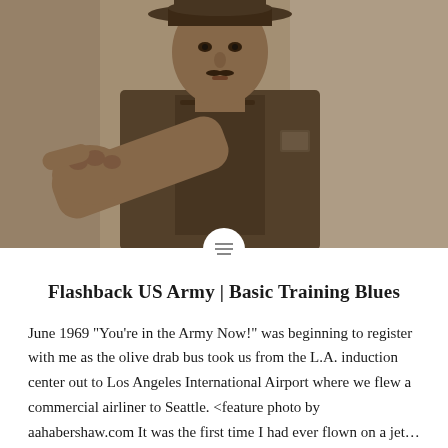[Figure (photo): Sepia-toned black and white photo of a military drill sergeant in uniform wearing a campaign cover (hat), pointing directly at the viewer with his index finger. The photo is close-up and dramatic.]
Flashback US Army | Basic Training Blues
June 1969 "You're in the Army Now!" was beginning to register with me as the olive drab bus took us from the L.A. induction center out to Los Angeles International Airport where we flew a commercial airliner to Seattle. <feature photo by aahabershaw.com It was the first time I had ever flown on a jet...